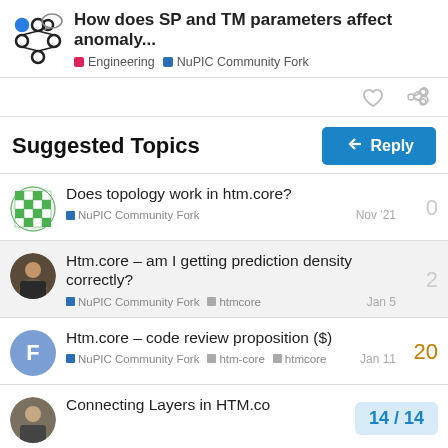How does SP and TM parameters affect anomaly... | Engineering | NuPIC Community Fork
Suggested Topics
Does topology work in htm.core? — NuPIC Community Fork — Nov '21 — 0 replies
Htm.core – am I getting prediction density correctly? — NuPIC Community Fork — htmcore — Jan 5 — 2 replies
Htm.core – code review proposition ($) — NuPIC Community Fork — htm-core — htmcore — Jan 11 — 20 replies
Connecting Layers in HTM.co... — 14/14